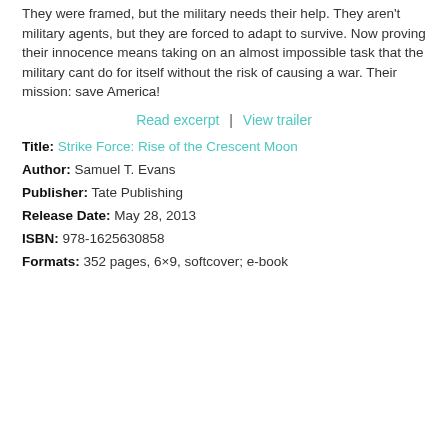They were framed, but the military needs their help. They aren't military agents, but they are forced to adapt to survive. Now proving their innocence means taking on an almost impossible task that the military cant do for itself without the risk of causing a war. Their mission: save America!
Read excerpt  |  View trailer
Title: Strike Force: Rise of the Crescent Moon
Author: Samuel T. Evans
Publisher: Tate Publishing
Release Date: May 28, 2013
ISBN: 978-1625630858
Formats: 352 pages, 6×9, softcover; e-book